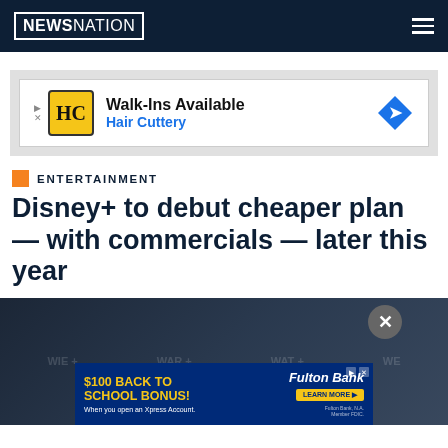NEWSNATION
[Figure (infographic): Advertisement banner for Hair Cuttery: Walk-Ins Available, Hair Cuttery logo (HC in yellow box), blue diamond arrow icon]
ENTERTAINMENT
Disney+ to debut cheaper plan — with commercials — later this year
[Figure (photo): Dark blue background with Disney+ logos/watermarks visible, showing a dimly lit scene]
[Figure (infographic): Advertisement for Fulton Bank: $100 BACK TO SCHOOL BONUS! When you open an Xpress Account. Learn More button.]